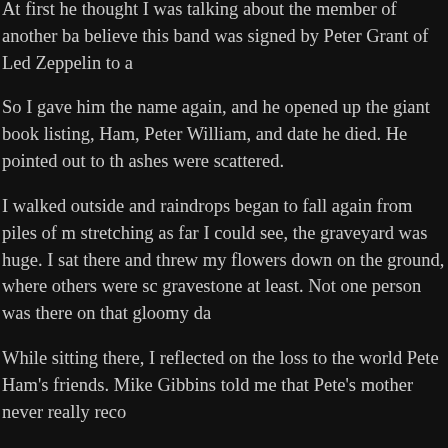At first he thought I was talking about the member of another ba believe this band was signed by Peter Grant of Led Zeppelin to a
So I gave him the name again, and he opened up the giant book listing, Ham, Peter William, and date he died. He pointed out to th ashes were scattered.
I walked outside and raindrops began to fall again from piles of m stretching as far I could see, the graveyard was huge. I sat there and threw my flowers down on the ground, where others were sc gravestone at least. Not one person was there on that gloomy da
While sitting there, I reflected on the loss to the world Pete Ham's friends. Mike Gibbins told me that Pete's mother never really reco
I finally left and returned to my hotel. The next day I called John a called him and he gave me his address, and the nearest bus sto nondescript townhouses, probably built after the war.
I went in, and he introduced me to his wife, Gaynor, and his so